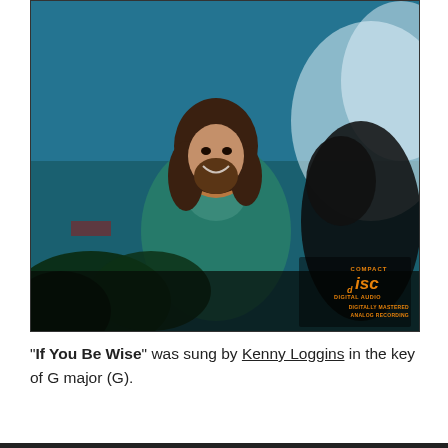[Figure (photo): Album cover photo of Kenny Loggins smiling, wearing a teal/green jacket, with dark foliage in the foreground and a blue atmospheric background. A Compact Disc digital audio logo badge appears in the lower right corner with text 'COMPACT disc DIGITAL AUDIO DIGITALLY MASTERED ANALOG RECORDING'.]
"If You Be Wise" was sung by Kenny Loggins in the key of G major (G).